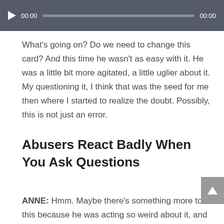[Figure (screenshot): Audio player bar with play button, 00:00 time stamps, and progress bar on dark grey background]
What's going on? Do we need to change this card? And this time he wasn't as easy with it. He was a little bit more agitated, a little uglier about it. My questioning it, I think that was the seed for me then where I started to realize the doubt. Possibly, this is not just an error.
Abusers React Badly When You Ask Questions
ANNE: Hmm. Maybe there's something more to this because he was acting so weird about it, and also maybe he wouldn't shut down the guard? He was like, we don't need to shut it down, but we're